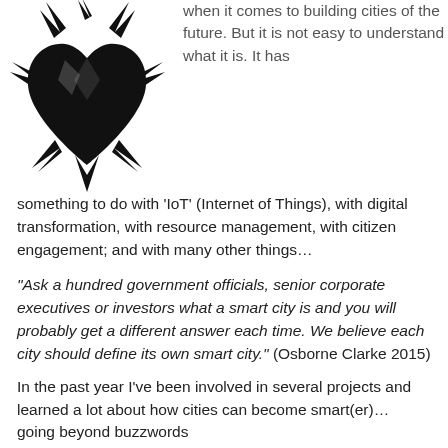[Figure (logo): Black icon of a heart with lightning bolt/star burst rays emanating from it, suggesting a 'smart heart' or smart city concept logo]
when it comes to building cities of the future. But it is not easy to understand what it is. It has something to do with 'IoT' (Internet of Things), with digital transformation, with resource management, with citizen engagement; and with many other things…
“Ask a hundred government officials, senior corporate executives or investors what a smart city is and you will probably get a different answer each time. We believe each city should define its own smart city.” (Osborne Clarke 2015)
In the past year I’ve been involved in several projects and learned a lot about how cities can become smart(er)… going beyond buzzwords